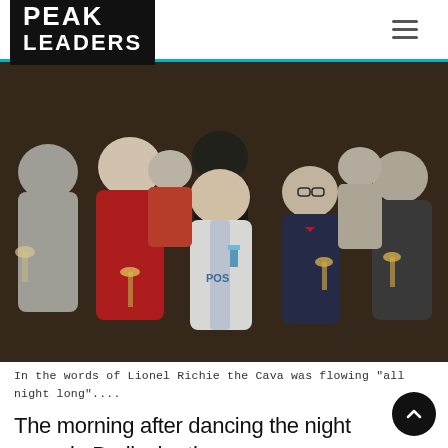PEAK LEADERS
[Figure (photo): Group of young people holding wine glasses and drinks, celebrating at a party or social event indoors. Multiple people smiling at the camera.]
In the words of Lionel Richie the Cava was flowing "all night long"....
The morning after dancing the night away in Bariloche there were understandably a few tired